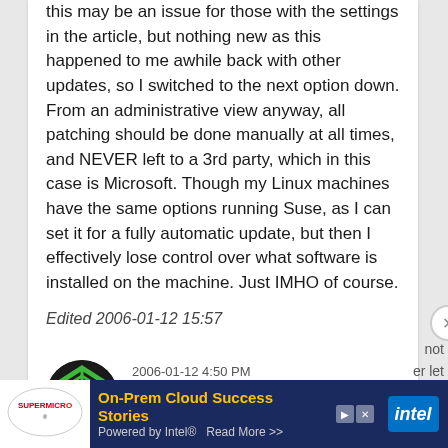this may be an issue for those with the settings in the article, but nothing new as this happened to me awhile back with other updates, so I switched to the next option down. From an administrative view anyway, all patching should be done manually at all times, and NEVER left to a 3rd party, which in this case is Microsoft. Though my Linux machines have the same options running Suse, as I can set it for a fully automatic update, but then I effectively lose control over what software is installed on the machine. Just IMHO of course.
Edited 2006-01-12 15:57
2006-01-12 4:50 PM
Googlesaurus
[Figure (logo): Supermicro logo - white oval with Supermicro text]
On-Prem Cloud Success Stories Powered by Intel® Read More >>